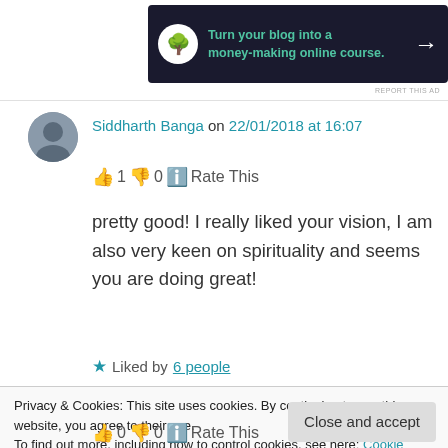[Figure (other): Advertisement banner: dark background with bonsai tree icon, text 'Turn your blog into a money-making online course.' with arrow]
REPORT THIS AD
Siddharth Banga on 22/01/2018 at 16:07
👍 1 👎 0 🔵 Rate This
pretty good! I really liked your vision, I am also very keen on spirituality and seems you are doing great!
★ Liked by 6 people
Privacy & Cookies: This site uses cookies. By continuing to use this website, you agree to their use.
To find out more, including how to control cookies, see here: Cookie Policy
Close and accept
👍 0 👎 0 🔵 Rate This